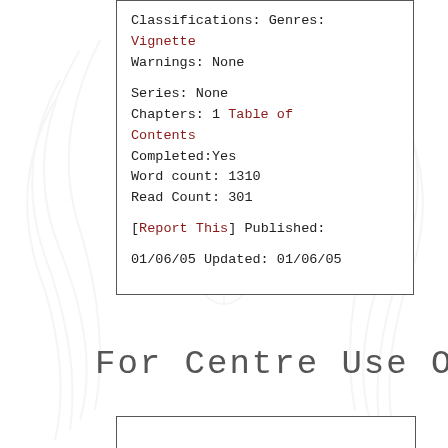Classifications: Genres:
Vignette
Warnings: None

Series: None
Chapters: 1 Table of Contents
Completed:Yes
Word count: 1310
Read Count: 301

[Report This] Published:

01/06/05 Updated: 01/06/05
For Centre Use Only
[Figure (other): Empty bordered box at bottom of page]